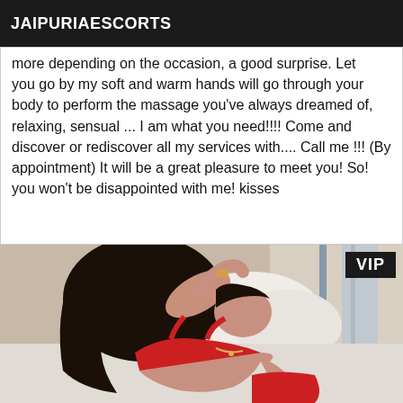JAIPURIAESCORTS
more depending on the occasion, a good surprise. Let you go by my soft and warm hands will go through your body to perform the massage you've always dreamed of, relaxing, sensual ... I am what you need!!!! Come and discover or rediscover all my services with.... Call me !!! (By appointment) It will be a great pleasure to meet you! So! you won't be disappointed with me! kisses
[Figure (photo): Woman in red lingerie lying on a bed, with a VIP badge in the top right corner]